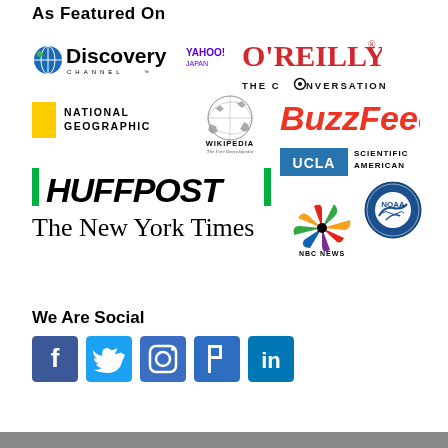As Featured On
[Figure (logo): Discovery Channel logo]
[Figure (logo): Yahoo Japan logo]
[Figure (logo): O'Reilly logo]
[Figure (logo): The Conversation logo]
[Figure (logo): National Geographic logo]
[Figure (logo): Wikipedia logo]
[Figure (logo): BuzzFeed logo]
[Figure (logo): UCLA logo]
[Figure (logo): Scientific American logo]
[Figure (logo): HuffPost logo]
[Figure (logo): The New York Times logo]
[Figure (logo): NBC News logo]
[Figure (logo): NOAA logo]
We Are Social
[Figure (infographic): Social media icons: Facebook, Twitter, Instagram, Pinterest, LinkedIn]